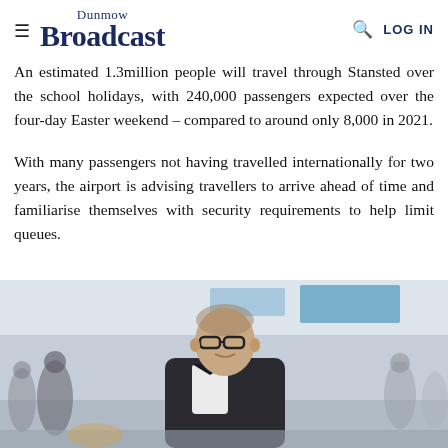Dunmow Broadcast
An estimated 1.3million people will travel through Stansted over the school holidays, with 240,000 passengers expected over the four-day Easter weekend – compared to around only 8,000 in 2021.
With many passengers not having travelled internationally for two years, the airport is advising travellers to arrive ahead of time and familiarise themselves with security requirements to help limit queues.
[Figure (photo): A man in a dark suit and glasses smiling at an airport terminal, with blurred passengers and airport signage in the background.]